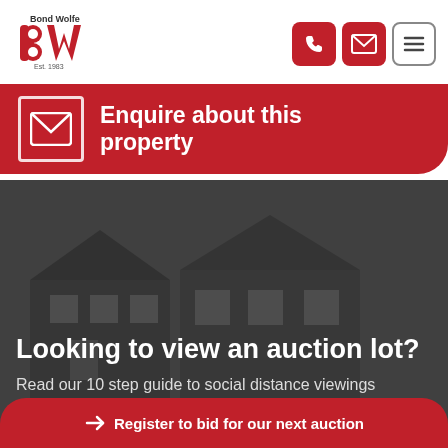[Figure (logo): Bond Wolfe logo with red BW letters and Est. 1983 text]
[Figure (infographic): Navigation icons: phone (red), email/envelope (red), menu/hamburger (outline)]
Enquire about this property
[Figure (photo): Darkened photo of a house/residential property behind text overlay]
Looking to view an auction lot?
Read our 10 step guide to social distance viewings
→ Register to bid for our next auction